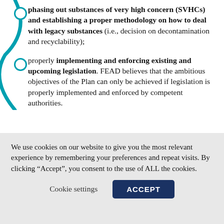phasing out substances of very high concern (SVHCs) and establishing a proper methodology on how to deal with legacy substances (i.e., decision on decontamination and recyclability);
properly implementing and enforcing existing and upcoming legislation. FEAD believes that the ambitious objectives of the Plan can only be achieved if legislation is properly implemented and enforced by competent authorities.
While these long-term policies are set to significantly
We use cookies on our website to give you the most relevant experience by remembering your preferences and repeat visits. By clicking “Accept”, you consent to the use of ALL the cookies.